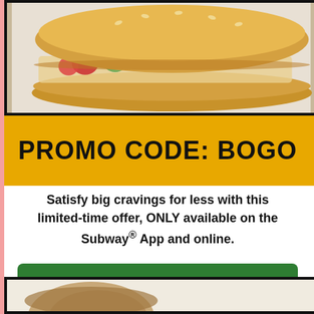[Figure (photo): Subway sandwich with vegetables including zucchini, tomato, and spinach on a white background]
PROMO CODE: BOGO
Satisfy big cravings for less with this limited-time offer, ONLY available on the Subway® App and online.
[Figure (other): ORDER NOW green button]
[Figure (photo): Bottom portion of another Subway sandwich image]